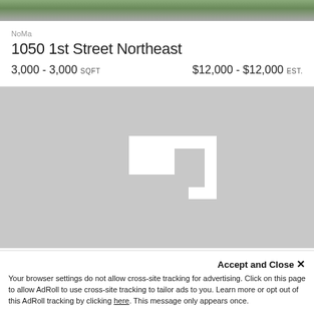[Figure (photo): Top photo strip showing a street view of a building in an urban area]
NoMa
1050 1st Street Northeast
3,000 - 3,000 SQFT   $12,000 - $12,000 EST.
[Figure (map): Grey map placeholder with a white building footprint icon in the center]
NoMa
1050 1st Street Southeast
Accept and Close ✕
Your browser settings do not allow cross-site tracking for advertising. Click on this page to allow AdRoll to use cross-site tracking to tailor ads to you. Learn more or opt out of this AdRoll tracking by clicking here. This message only appears once.